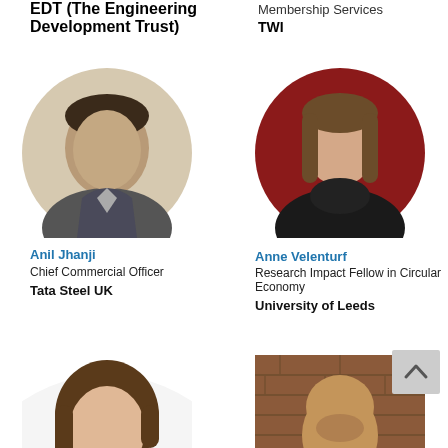EDT (The Engineering Development Trust)
Membership Services
TWI
[Figure (photo): Circular headshot of Anil Jhanji, a man in a suit with a tie, against a light beige background]
[Figure (photo): Circular headshot of Anne Velenturf, a woman with long brown hair against a red background, wearing dark clothing]
Anil Jhanji
Chief Commercial Officer
Tata Steel UK
Anne Velenturf
Research Impact Fellow in Circular Economy
University of Leeds
[Figure (photo): Circular headshot of a young woman with long dark hair against a white background]
[Figure (photo): Circular headshot of a bald man against a brick wall background]